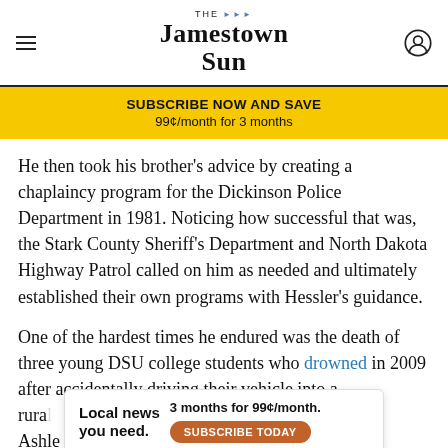The Jamestown Sun
SUBSCRIBE NOW AND SAVE
99¢/month for 3 months
He then took his brother's advice by creating a chaplaincy program for the Dickinson Police Department in 1981. Noticing how successful that was, the Stark County Sheriff's Department and North Dakota Highway Patrol called on him as needed and ultimately established their own programs with Hessler's guidance.
One of the hardest times he endured was the death of three young DSU college students who drowned in 2009 after accidentally driving their vehicle into a rural [area near Lamar, Ashley, Heaton and Aaron Thomason]